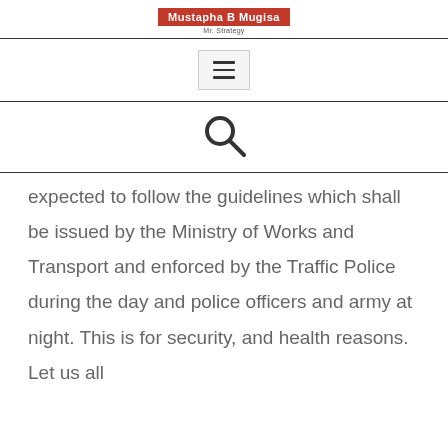Mustapha B Mugisa
[Figure (infographic): Hamburger menu icon (three horizontal lines) inside a light grey bordered box]
[Figure (infographic): Search magnifying glass icon]
expected to follow the guidelines which shall be issued by the Ministry of Works and Transport and enforced by the Traffic Police during the day and police officers and army at night. This is for security, and health reasons. Let us all